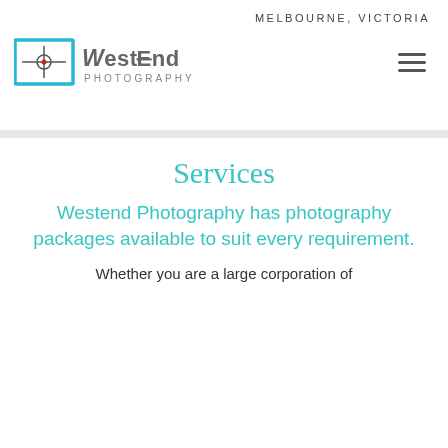MELBOURNE, VICTORIA
[Figure (logo): Westend Photography logo with blue rectangle border, crosshair with red dot center, and stylized 'Westend Photography' text in grey]
Services
Westend Photography has photography packages available to suit every requirement.
Whether you are a large corporation of